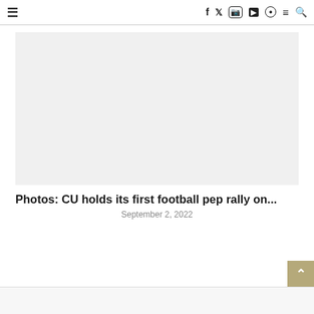≡   f  𝕏  ⊙  ▶  ●  ≡  🔍
[Figure (photo): Large light gray image placeholder area for a photo related to CU football pep rally]
Photos: CU holds its first football pep rally on...
September 2, 2022